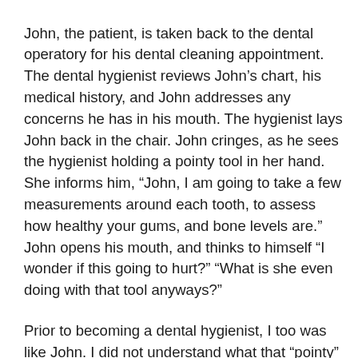John, the patient, is taken back to the dental operatory for his dental cleaning appointment. The dental hygienist reviews John’s chart, his medical history, and John addresses any concerns he has in his mouth. The hygienist lays John back in the chair. John cringes, as he sees the hygienist holding a pointy tool in her hand. She informs him, “John, I am going to take a few measurements around each tooth, to assess how healthy your gums, and bone levels are.” John opens his mouth, and thinks to himself “I wonder if this going to hurt?” “What is she even doing with that tool anyways?”
Prior to becoming a dental hygienist, I too was like John. I did not understand what that “pointy” tool was, or why it needed to be used. With this blog post, I would like to briefly educate my dental patients of what a periodontal probe is and why it is utilized in the dental office.